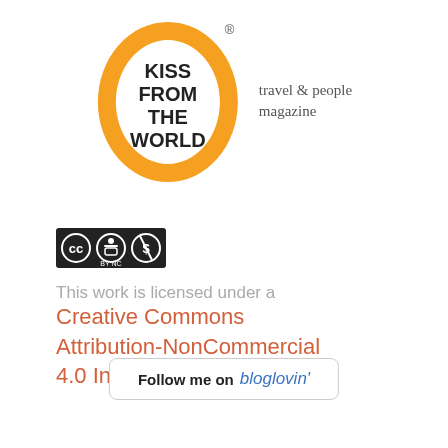[Figure (logo): Kiss From The World travel & people magazine logo: orange oval with KISS FROM THE WORLD text inside, tagline 'travel & people magazine' to the right, registered trademark symbol]
[Figure (logo): Creative Commons BY-NC license badge showing CC, person, and dollar-sign-crossed icons]
This work is licensed under a
Creative Commons Attribution-NonCommercial 4.0 International License.
[Figure (other): Follow me on bloglovin' button]